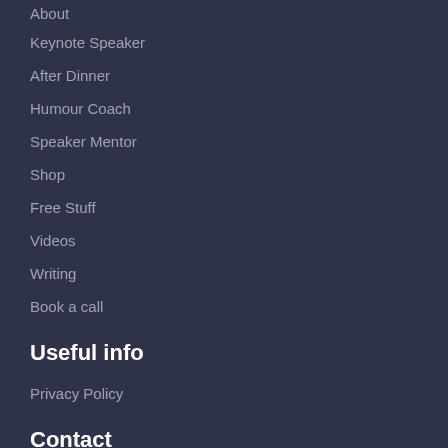About
Keynote Speaker
After Dinner
Humour Coach
Speaker Mentor
Shop
Free Stuff
Videos
Writing
Book a call
Useful info
Privacy Policy
Contact